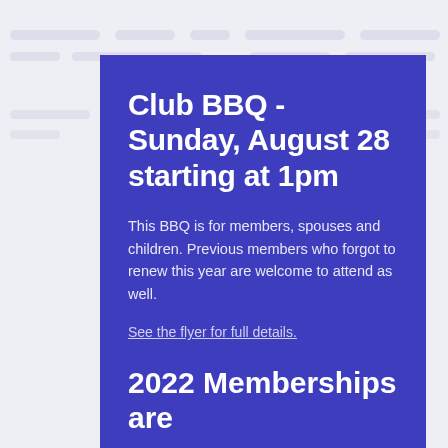Club BBQ - Sunday, August 28 starting at 1pm
This BBQ is for members, spouses and children. Previous members who forgot to renew this year are welcome to attend as well.
See the flyer for full details.
2022 Memberships are